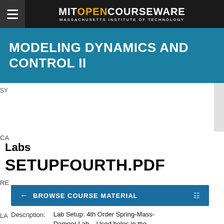MIT OPENCOURSEWARE - MASSACHUSETTS INSTITUTE OF TECHNOLOGY
MODELING DYNAMICS AND CONTROL II
Labs
SETUPFOURTH.PDF
← BROWSE COURSE MATERIAL
Description: Lab Setup: 4th Order Spring-Mass-Damper Lab – Used holes in the Optical Plate